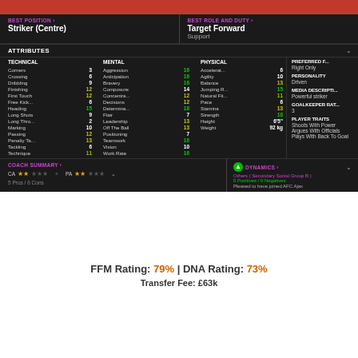BEST POSITION > Striker (Centre)
BEST ROLE AND DUTY > Target Forward Support
ATTRIBUTES
| TECHNICAL |  | MENTAL |  | PHYSICAL |  |
| --- | --- | --- | --- | --- | --- |
| Corners | 3 | Aggression | 16 | Accelerat... | 6 |
| Crossing | 6 | Anticipation | 16 | Agility | 10 |
| Dribbling | 9 | Bravery | 16 | Balance | 13 |
| Finishing | 12 | Composure | 14 | Jumping R... | 15 |
| First Touch | 12 | Concentra... | 12 | Natural Fit... | 11 |
| Free Kick... | 6 | Decisions | 12 | Pace | 6 |
| Heading | 15 | Determina... | 18 | Stamina | 13 |
| Long Shots | 9 | Flair | 7 | Strength | 18 |
| Long Thro... | 2 | Leadership | 13 | Height | 6'5" |
| Marking | 10 | Off The Ball | 13 | Weight | 92 kg |
| Passing | 12 | Positioning | 7 |  |  |
| Penalty Ta... | 13 | Teamwork | 16 |  |  |
| Tackling | 6 | Vision | 10 |  |  |
| Technique | 11 | Work Rate | 16 |  |  |
PREFERRED F... Right Only
PERSONALITY Driven
MEDIA DESCRIPTI... Powerful striker
GOALKEEPER RAT... 3
PLAYER TRAITS: Shoots With Power, Argues With Officials, Plays With Back To Goal
COACH SUMMARY >
CA ★★ PA ★★ 5 Pros / 6 Cons
DYNAMICS >
Others ( Secondary Social Group B ) 5 Positives / 0 Negatives Pleased to have joined AFC Ajax
FFM Rating: 79% | DNA Rating: 73%
Transfer Fee: £63k